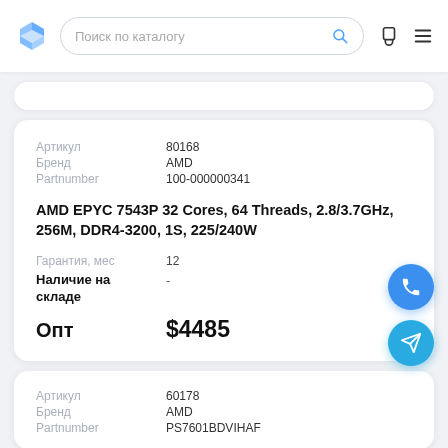Поиск по каталогу
| Артикул | 80168 |
| --- | --- |
| Бренд | AMD |
| Partnumber | 100-000000341 |
AMD EPYC 7543P 32 Cores, 64 Threads, 2.8/3.7GHz, 256M, DDR4-3200, 1S, 225/240W
| Гарантия, мес | 12 |
| Наличие на складе | - |
| Опт | $4485 |
| Артикул | 60178 |
| --- | --- |
| Бренд | AMD |
| Partnumber | PS7601BDVIHAF |